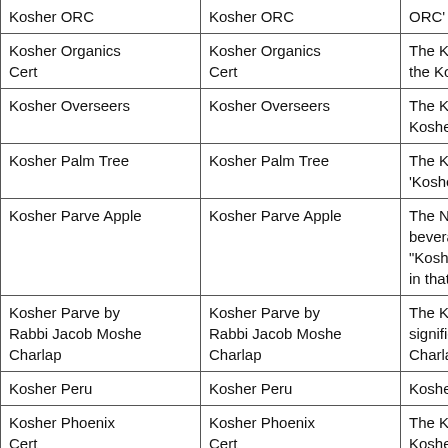| Name | Alias | Description |
| --- | --- | --- |
| Kosher ORC | Kosher ORC | ORC' logo. |
| Kosher Organics Cert | Kosher Organics Cert | The Kosher Organics... the Kosher Organics... |
| Kosher Overseers | Kosher Overseers | The Kosher Oversee... Kosher Overseers c... |
| Kosher Palm Tree | Kosher Palm Tree | The Kosher Palm Tr... 'Kosher Palm Tree'... |
| Kosher Parve Apple | Kosher Parve Apple | The Natural Food Ce... beverage products... "Kosher Natural" de... in that it "only certifi... |
| Kosher Parve by Rabbi Jacob Moshe Charlap | Kosher Parve by Rabbi Jacob Moshe Charlap | The Kosher Parve b... signifies that the pr... Charlap |
| Kosher Peru | Kosher Peru | Kosher Peru is a Ko... |
| Kosher Phoenix Cert | Kosher Phoenix Cert | The Kosher Phoenix... Kosher Phoenix Cer... |
| Kosher Rabbi David | Kosher Rabbi David | The Kosher Rabbi D... |